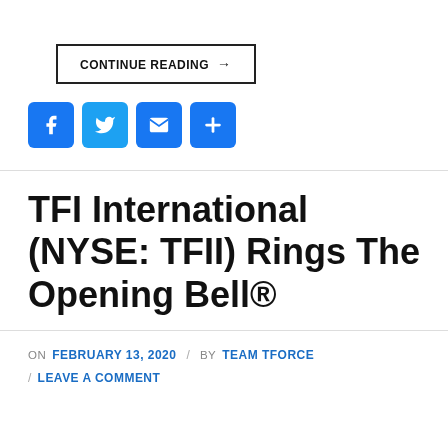CONTINUE READING →
[Figure (infographic): Four social sharing icons: Facebook (blue), Twitter (light blue), Email (blue envelope), Share/Add (blue plus sign)]
TFI International (NYSE: TFII) Rings The Opening Bell®
ON FEBRUARY 13, 2020 / BY TEAM TFORCE / LEAVE A COMMENT